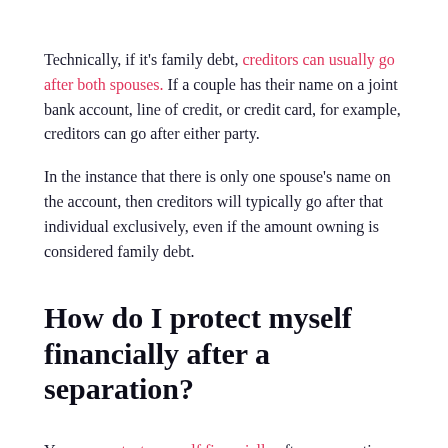Technically, if it's family debt, creditors can usually go after both spouses. If a couple has their name on a joint bank account, line of credit, or credit card, for example, creditors can go after either party.
In the instance that there is only one spouse's name on the account, then creditors will typically go after that individual exclusively, even if the amount owning is considered family debt.
How do I protect myself financially after a separation?
You can protect yourself financially after a separation